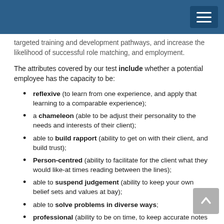targeted training and development pathways, and increase the likelihood of successful role matching, and employment.
The attributes covered by our test include whether a potential employee has the capacity to be:
reflexive (to learn from one experience, and apply that learning to a comparable experience);
a chameleon (able to be adjust their personality to the needs and interests of their client);
able to build rapport (ability to get on with their client, and build trust);
Person-centred (ability to facilitate for the client what they would like-at times reading between the lines);
able to suspend judgement (ability to keep your own belief sets and values at bay);
able to solve problems in diverse ways;
professional (ability to be on time, to keep accurate notes etc.);
an advocate (ability to advocate the needs of the…